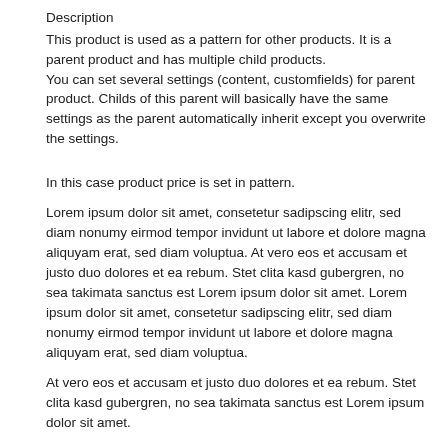Description
This product is used as a pattern for other products. It is a parent product and has multiple child products.
You can set several settings (content, customfields) for parent product. Childs of this parent will basically have the same settings as the parent automatically inherit except you overwrite the settings.
In this case product price is set in pattern.
Lorem ipsum dolor sit amet, consetetur sadipscing elitr, sed diam nonumy eirmod tempor invidunt ut labore et dolore magna aliquyam erat, sed diam voluptua. At vero eos et accusam et justo duo dolores et ea rebum. Stet clita kasd gubergren, no sea takimata sanctus est Lorem ipsum dolor sit amet. Lorem ipsum dolor sit amet, consetetur sadipscing elitr, sed diam nonumy eirmod tempor invidunt ut labore et dolore magna aliquyam erat, sed diam voluptua.
At vero eos et accusam et justo duo dolores et ea rebum. Stet clita kasd gubergren, no sea takimata sanctus est Lorem ipsum dolor sit amet.
Lorem ipsum dolor sit amet, consetetur sadipscing elitr, sed diam nonumy eirmod tempor invidunt ut labore et dolore magna aliquyam erat, sed diam voluptua. At vero eos et accusam et justo duo dolores et ea rebum. Stet clita kasd gubergren, no sea takimata sanctus est Lorem ipsum dolor sit amet.